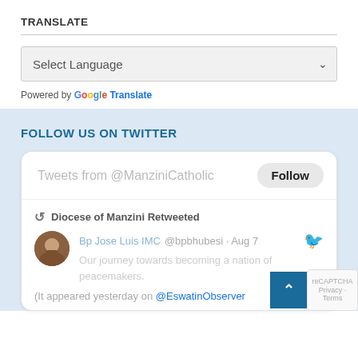TRANSLATE
[Figure (screenshot): Select Language dropdown box with chevron, showing a Google Translate widget with 'Powered by Google Translate' below]
Powered by Google Translate
FOLLOW US ON TWITTER
[Figure (screenshot): Twitter widget showing 'Tweets from @ManziniCatholic' with a Follow button. Below is a tweet: 'Diocese of Manzini Retweeted' - Bp Jose Luis IMC @bpbhubesi · Aug 7: 'Our journey towards becoming a nation of peacemakers.' with a profile photo and Twitter bird icon. Partial text: '(It appeared yesterday on @EswatinObserver']